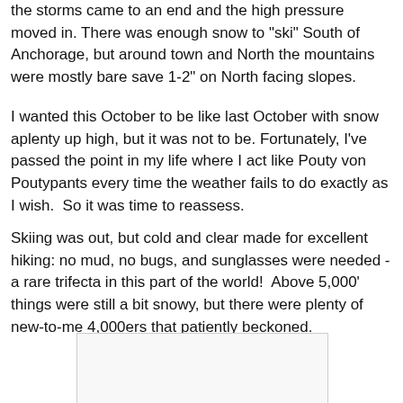the storms came to an end and the high pressure moved in. There was enough snow to "ski" South of Anchorage, but around town and North the mountains were mostly bare save 1-2" on North facing slopes.
I wanted this October to be like last October with snow aplenty up high, but it was not to be. Fortunately, I've passed the point in my life where I act like Pouty von Poutypants every time the weather fails to do exactly as I wish.  So it was time to reassess.
Skiing was out, but cold and clear made for excellent hiking: no mud, no bugs, and sunglasses were needed - a rare trifecta in this part of the world!  Above 5,000' things were still a bit snowy, but there were plenty of new-to-me 4,000ers that patiently beckoned.
[Figure (photo): A white/blank image placeholder with light gray border]